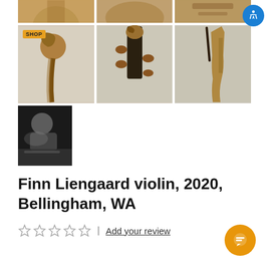[Figure (photo): Top row: three cropped photos of violin parts (scroll, body details) on light gray background]
[Figure (photo): Second row: three photos of violin parts — scroll closeup with SHOP badge, front view with pegs, and side view of violin body]
[Figure (photo): Third row: one black and white photo of a violin maker/luthier at work]
Finn Liengaard violin, 2020, Bellingham, WA
☆☆☆☆☆  |  Add your review